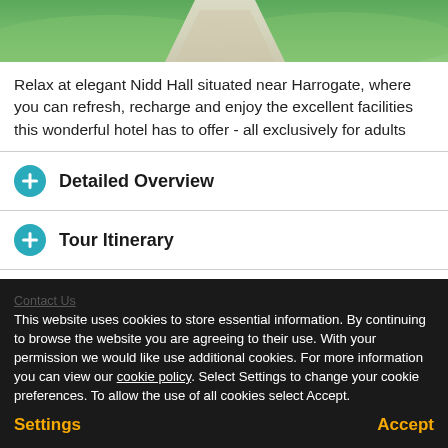[Figure (photo): Aerial or ground-level view of a grass path or walkway at Nidd Hall, with green lawn on either side]
Relax at elegant Nidd Hall situated near Harrogate, where you can refresh, recharge and enjoy the excellent facilities this wonderful hotel has to offer - all exclusively for adults
Detailed Overview
Tour Itinerary
Other Information
Pick-up Points
This website uses cookies to store essential information. By continuing to browse the website you are agreeing to their use. With your permission we would like use additional cookies. For more information you can view our cookie policy. Select Settings to change your cookie preferences. To allow the use of all cookies select Accept.
Settings
Accept